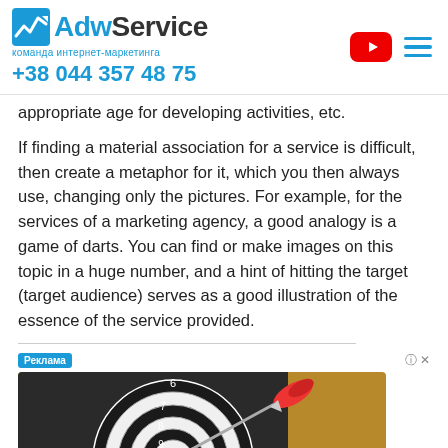AdwService команда интернет-маркетинга +38 044 357 48 75
appropriate age for developing activities, etc.
If finding a material association for a service is difficult, then create a metaphor for it, which you then always use, changing only the pictures. For example, for the services of a marketing agency, a good analogy is a game of darts. You can find or make images on this topic in a huge number, and a hint of hitting the target (target audience) serves as a good illustration of the essence of the service provided.
[Figure (photo): Dartboard with a red dart hitting near the bullseye, with numbered rings visible. Labeled as advertisement (Реклама).]
Ка...